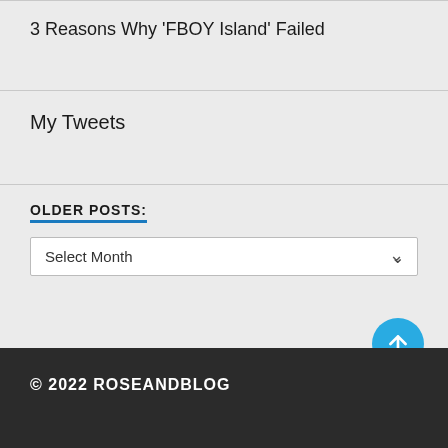3 Reasons Why 'FBOY Island' Failed
My Tweets
OLDER POSTS:
Select Month
© 2022 ROSEANDBLOG